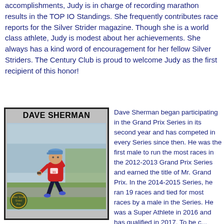accomplishments, Judy is in charge of recording marathon results in the TOP IO Standings. She frequently contributes race reports for the Silver Strider magazine. Though she is a world class athlete, Judy is modest about her achievements. She always has a kind word of encouragement for her fellow Silver Striders. The Century Club is proud to welcome Judy as the first recipient of this honor!
[Figure (photo): Photo card of Dave Sherman, a runner in red sleeveless shirt and dark shorts, running on a path. Card has a silver border with 'DAVE SHERMAN' header in bold and a Silver Strider Grand Prix badge/logo in the bottom left corner.]
Dave Sherman began participating in the Grand Prix Series in its second year and has competed in every Series since then. He was the first male to run the most races in the 2012-2013 Grand Prix Series and earned the title of Mr. Grand Prix. In the 2014-2015 Series, he ran 19 races and tied for most races by a male in the Series. He was a Super Athlete in 2016 and has qualified in 2017. To be c...